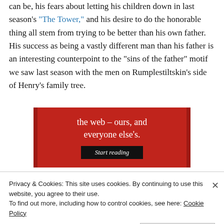can be, his fears about letting his children down in last season's "The Tower," and his desire to do the honorable thing all stem from trying to be better than his own father. His success as being a vastly different man than his father is an interesting counterpoint to the "sins of the father" motif we saw last season with the men on Rumplestiltskin's side of Henry's family tree.
[Figure (other): Advertisement banner with red background showing text 'the web – ours, and everyone else's.' with a black 'Start reading' button]
Privacy & Cookies: This site uses cookies. By continuing to use this website, you agree to their use.
To find out more, including how to control cookies, see here: Cookie Policy